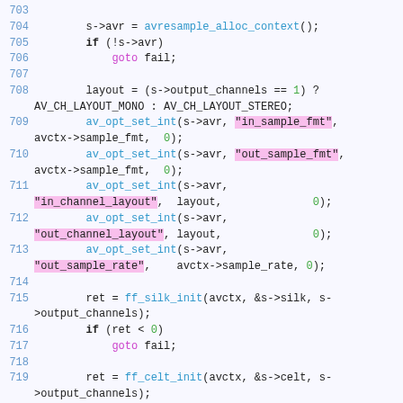Source code listing, lines 703-719, showing audio resampling initialization code in C.